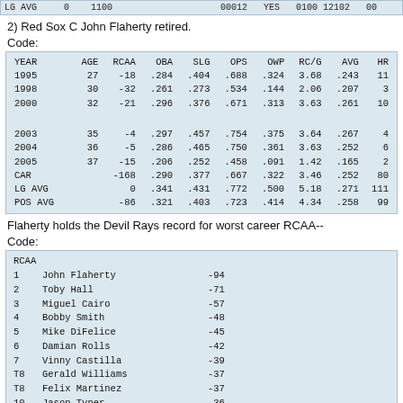| LG AVG | 0 | 1100 |  |  | 00012 | YES | 0100 | 12102 | 00 |
2) Red Sox C John Flaherty retired.
Code:
| YEAR | AGE | RCAA | OBA | SLG | OPS | OWP | RC/G | AVG | HR |
| --- | --- | --- | --- | --- | --- | --- | --- | --- | --- |
| 1995 | 27 | -18 | .284 | .404 | .688 | .324 | 3.68 | .243 | 11 |
| 1998 | 30 | -32 | .261 | .273 | .534 | .144 | 2.06 | .207 | 3 |
| 2000 | 32 | -21 | .296 | .376 | .671 | .313 | 3.63 | .261 | 10 |
|  |  |  |  |  |  |  |  |  |  |
| 2003 | 35 | -4 | .297 | .457 | .754 | .375 | 3.64 | .267 | 4 |
| 2004 | 36 | -5 | .286 | .465 | .750 | .361 | 3.63 | .252 | 6 |
| 2005 | 37 | -15 | .206 | .252 | .458 | .091 | 1.42 | .165 | 2 |
| CAR |  | -168 | .290 | .377 | .667 | .322 | 3.46 | .252 | 80 |
| LG AVG |  | 0 | .341 | .431 | .772 | .500 | 5.18 | .271 | 111 |
| POS AVG |  | -86 | .321 | .403 | .723 | .414 | 4.34 | .258 | 99 |
Flaherty holds the Devil Rays record for worst career RCAA--
Code:
| RCAA |  |  |
| --- | --- | --- |
| 1 | John Flaherty | -94 |
| 2 | Toby Hall | -71 |
| 3 | Miguel Cairo | -57 |
| 4 | Bobby Smith | -48 |
| 5 | Mike DiFelice | -45 |
| 6 | Damian Rolls | -42 |
| 7 | Vinny Castilla | -39 |
| T8 | Gerald Williams | -37 |
| T8 | Felix Martinez | -37 |
| 10 | Jason Tyner | -36 |